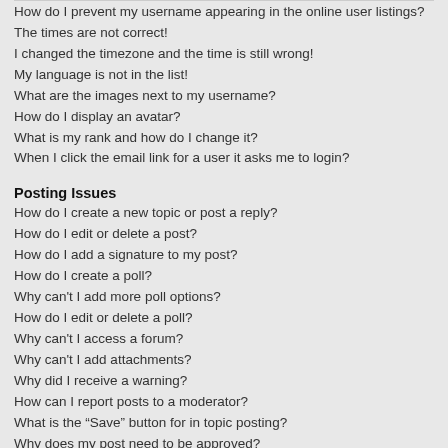How do I prevent my username appearing in the online user listings?
The times are not correct!
I changed the timezone and the time is still wrong!
My language is not in the list!
What are the images next to my username?
How do I display an avatar?
What is my rank and how do I change it?
When I click the email link for a user it asks me to login?
Posting Issues
How do I create a new topic or post a reply?
How do I edit or delete a post?
How do I add a signature to my post?
How do I create a poll?
Why can't I add more poll options?
How do I edit or delete a poll?
Why can't I access a forum?
Why can't I add attachments?
Why did I receive a warning?
How can I report posts to a moderator?
What is the “Save” button for in topic posting?
Why does my post need to be approved?
How do I bump my topic?
Formatting and Topic Types
What is BBCode?
Can I use HTML?